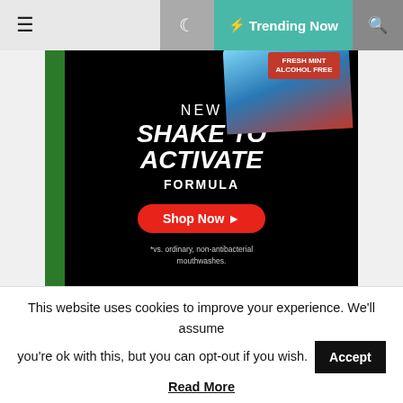≡  🌙  ⚡ Trending Now  🔍
[Figure (photo): Advertisement banner for a mouthwash product. Black background with blue product packaging at top right and green accent on left. Text reads: NEW SHAKE TO ACTIVATE FORMULA. Red rounded button: Shop Now ▶. Small disclaimer: *vs. ordinary, non-antibacterial mouthwashes.]
Categories
This website uses cookies to improve your experience. We'll assume you're ok with this, but you can opt-out if you wish.
Accept
Read More